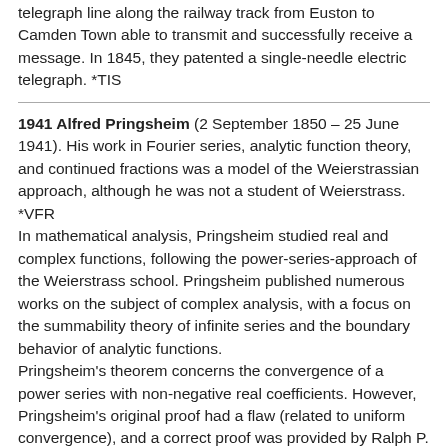telegraph line along the railway track from Euston to Camden Town able to transmit and successfully receive a message. In 1845, they patented a single-needle electric telegraph. *TIS
1941 Alfred Pringsheim (2 September 1850 – 25 June 1941). His work in Fourier series, analytic function theory, and continued fractions was a model of the Weierstrassian approach, although he was not a student of Weierstrass. *VFR
In mathematical analysis, Pringsheim studied real and complex functions, following the power-series-approach of the Weierstrass school. Pringsheim published numerous works on the subject of complex analysis, with a focus on the summability theory of infinite series and the boundary behavior of analytic functions.
Pringsheim's theorem concerns the convergence of a power series with non-negative real coefficients. However, Pringsheim's original proof had a flaw (related to uniform convergence), and a correct proof was provided by Ralph P. Boas. Pringsheim's theorem is used in analytic combinatorics and the Perron–Frobenius theory of positive